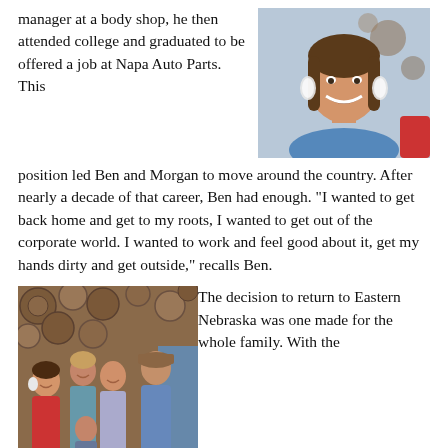manager at a body shop, he then attended college and graduated to be offered a job at Napa Auto Parts. This position led Ben and Morgan to move around the country. After nearly a decade of that career, Ben had enough. “I wanted to get back home and get to my roots, I wanted to get out of the corporate world. I wanted to work and feel good about it, get my hands dirty and get outside,” recalls Ben.
[Figure (photo): Close-up photo of a smiling woman with long dark hair wearing large white earrings and a blue top]
[Figure (photo): Family photo of a woman in red dress, two teenage girls, a boy, and a man in a blue long-sleeve shirt and baseball cap, standing in front of a wooden log art wall]
The decision to return to Eastern Nebraska was one made for the whole family. With the